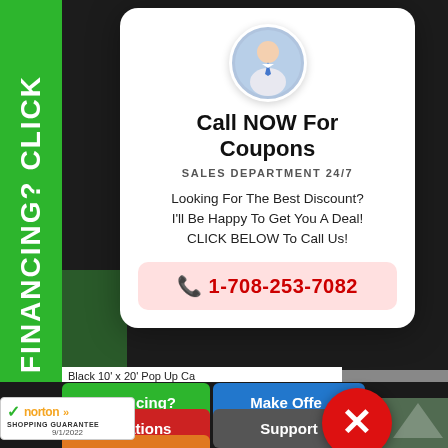[Figure (screenshot): Website screenshot showing a product page for Black 10' x 20' Pop Up Canopy tent with a modal popup overlay for sales call with phone number 1-708-253-7082, navigation buttons (Financing, Make Offer, Locations, Support, New Items), a Norton Shopping Guarantee badge, and a green vertical FINANCING? CLICK sidebar.]
FINANCING? CLICK
Call NOW For Coupons
SALES DEPARTMENT 24/7
Looking For The Best Discount? I'll Be Happy To Get You A Deal! CLICK BELOW To Call Us!
1-708-253-7082
Black 10' x 20' Pop Up Ca
LIST PRICE: $769.95
REGULAR PRICE: $669.
SEPT. 1st 9 HR.
You save $200.00!
Purchase Your Black 10' x Today! Limited Quantities A... Call 1-866-606-3991
Financing?
Make Offer
Locations
Support
New Items
norton SHOPPING GUARANTEE 9/1/2022